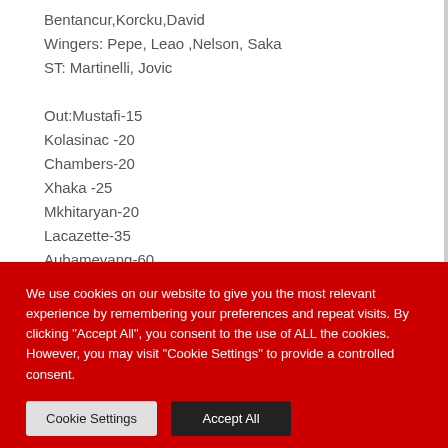Bentancur,Korcku,David
Wingers: Pepe, Leao ,Nelson, Saka
ST: Martinelli, Jovic

Out:Mustafi-15
Kolasinac -20
Chambers-20
Xhaka -25
Mkhitaryan-20
Lacazette-35
Aubameyang-60
Ozil-40
Total-235
We use cookies on our website to give you the most relevant experience by remembering your preferences and repeat visits. By clicking "Accept All", you consent to the use of ALL the cookies. However, you may visit "Cookie Settings" to provide a controlled consent.
Cookie Settings | Accept All